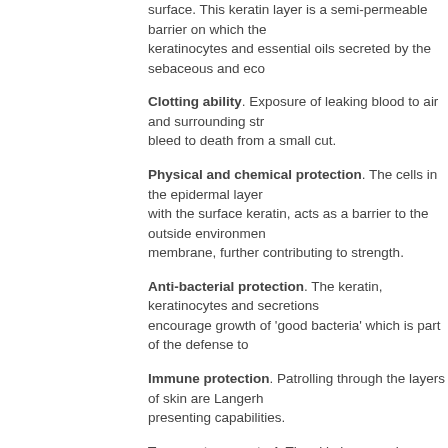surface. This keratin layer is a semi-permeable barrier on which the keratinocytes and essential oils secreted by the sebaceous and eco
Clotting ability. Exposure of leaking blood to air and surrounding str bleed to death from a small cut.
Physical and chemical protection. The cells in the epidermal layer with the surface keratin, acts as a barrier to the outside environmen membrane, further contributing to strength.
Anti-bacterial protection. The keratin, keratinocytes and secretions encourage growth of 'good bacteria' which is part of the defense to
Immune protection. Patrolling through the layers of skin are Langerh presenting capabilities.
Temperature control. The skin is our main interface with the outside temperature control. The ability to control the blood flowing through regulated both centrally and by local factors; dilated vessels increas cooling) while constriction of the dermal (and subcutaneous) vesse also contribute to cooling by secreting fluid onto the surface to aid i subcutaneous fat acts as a thick layer of insulation. The fat controls quick energy release.